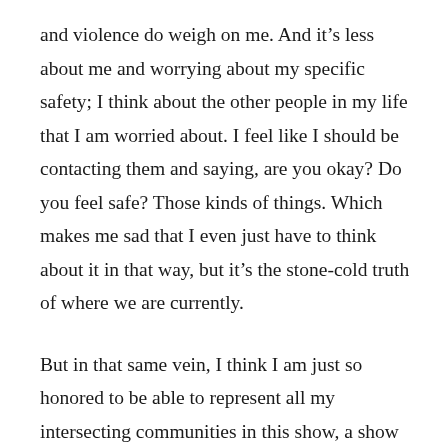and violence do weigh on me. And it's less about me and worrying about my specific safety; I think about the other people in my life that I am worried about. I feel like I should be contacting them and saying, are you okay? Do you feel safe? Those kinds of things. Which makes me sad that I even just have to think about it in that way, but it's the stone-cold truth of where we are currently.
But in that same vein, I think I am just so honored to be able to represent all my intersecting communities in this show, a show that was originally written for an all-white cast, and it just so happens that I am Asian and Jewish, and I'm able to play this role. So especially now,